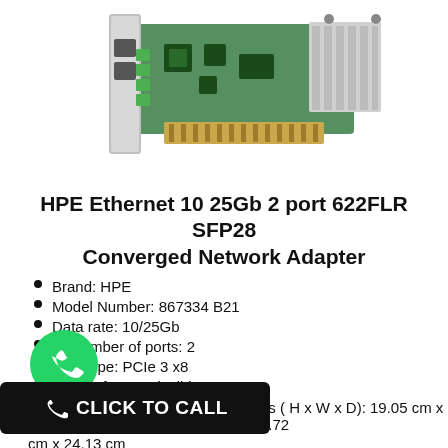[Figure (photo): HPE Ethernet network adapter card (PCIe card with green circuit board, SFP28 ports, and gold edge connector)]
HPE Ethernet 10 25Gb 2 port 622FLR SFP28 Converged Network Adapter
Brand: HPE
Model Number: 867334 B21
Data rate: 10/25Gb
Number of ports: 2
Bus type: PCIe 3 x8
Form factor: FlexibleLOM
[Figure (other): WhatsApp click-to-call button overlay with green phone icon and black CLICK TO CALL button]
Dimensions ( H x W x D): 19.05 cm x 5.72 cm x 24.13 cm